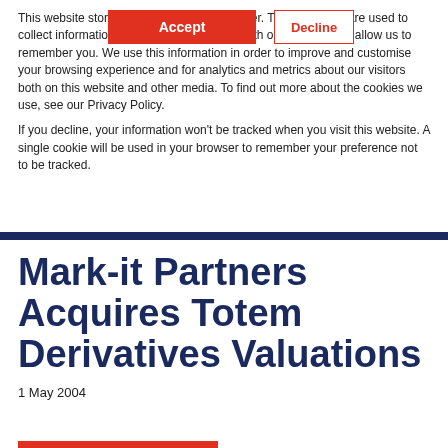This website stores cookies on your computer. These cookies are used to collect information about how you interact with our website and allow us to remember you. We use this information in order to improve and customise your browsing experience and for analytics and metrics about our visitors both on this website and other media. To find out more about the cookies we use, see our Privacy Policy.
If you decline, your information won't be tracked when you visit this website. A single cookie will be used in your browser to remember your preference not to be tracked.
Mark-it Partners Acquires Totem Derivatives Valuations
1 May 2004